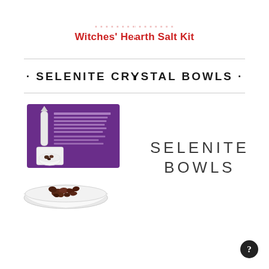Witches' Hearth Salt Kit
· SELENITE CRYSTAL BOWLS ·
[Figure (photo): Product photo showing a white selenite bowl filled with dark crystals/stones, with a purple product information card behind it featuring text about selenite and images of the product.]
SELENITE
BOWLS